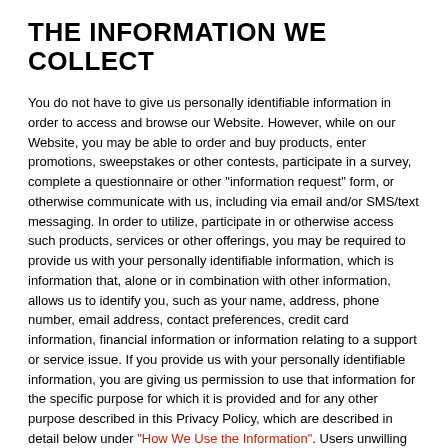THE INFORMATION WE COLLECT
You do not have to give us personally identifiable information in order to access and browse our Website. However, while on our Website, you may be able to order and buy products, enter promotions, sweepstakes or other contests, participate in a survey, complete a questionnaire or other "information request" form, or otherwise communicate with us, including via email and/or SMS/text messaging. In order to utilize, participate in or otherwise access such products, services or other offerings, you may be required to provide us with your personally identifiable information, which is information that, alone or in combination with other information, allows us to identify you, such as your name, address, phone number, email address, contact preferences, credit card information, financial information or information relating to a support or service issue. If you provide us with your personally identifiable information, you are giving us permission to use that information for the specific purpose for which it is provided and for any other purpose described in this Privacy Policy, which are described in detail below under "How We Use the Information". Users unwilling to provide personally identifiable information online can choose not to provide such information, and in some (but not all) situations users may be able to work with a sales